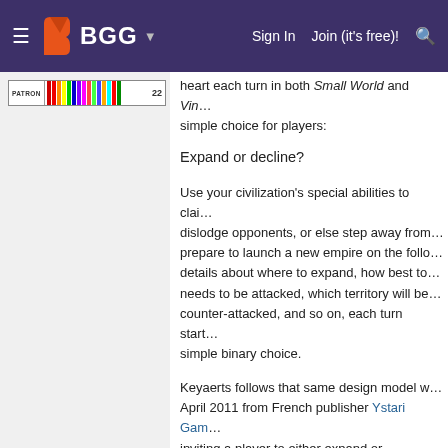BGG — Sign In | Join (it's free)!
[Figure (other): BGG (BoardGameGeek) website navigation bar with hamburger menu, orange BGG logo icon, BGG text, dropdown arrow, Sign In, Join (it's free)!, and search icon on dark purple background]
[Figure (other): Patron bar with colored stripes and number 22]
heart each turn in both Small World and Vin... simple choice for players:
Expand or decline?
Use your civilization's special abilities to clai... dislodge opponents, or else step away from... prepare to launch a new empire on the follo... details about where to expand, how best to... needs to be attacked, which territory will be... counter-attacked, and so on, each turn start... simple binary choice.
Keyaerts follows that same design model w... April 2011 from French publisher Ystari Gam... inviting a player to either expand or develop... expand or develop. As in Vinci and Small W... come into play in Olympos – specifically in t...